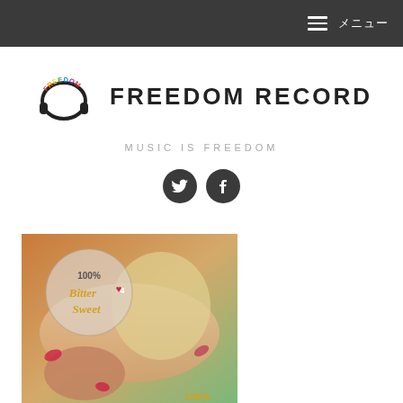≡ メニュー
[Figure (logo): Freedom Record logo: colorful FREEDOM text arched over headphones icon]
FREEDOM RECORD
MUSIC IS FREEDOM
[Figure (illustration): Social media icons: Twitter bird and Facebook f, dark circular buttons]
[Figure (photo): Album cover artwork for 'Bitter Sweet 4' showing a woman lying down surrounded by rose petals, with circular stamp overlay reading '100%' and 'Bitter Sweet 4']